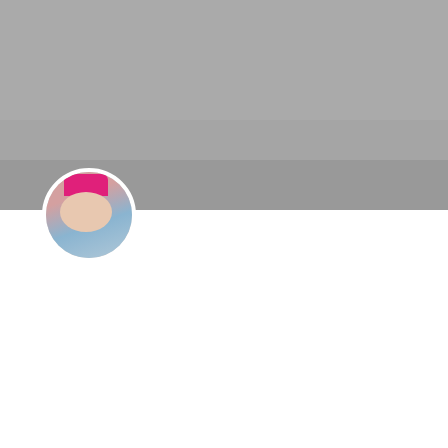[Figure (photo): Hero image — grey/overcast outdoor landscape background]
[Figure (photo): Circular avatar photo of a woman wearing a pink beanie hat outdoors]
Valentine's Day Gift Guide | 5 Most Romantic Trips in Iceland
Valentine's Day is upon us, and we are feeling romantic! A visit to the land of glittering waterfalls, black sand beaches, the Northern Lights, and Midnight Sun is the perfect gift for your loved one this Valentine's. Read about the 5 Most Romantic Trips and Tours you can take in Iceland.